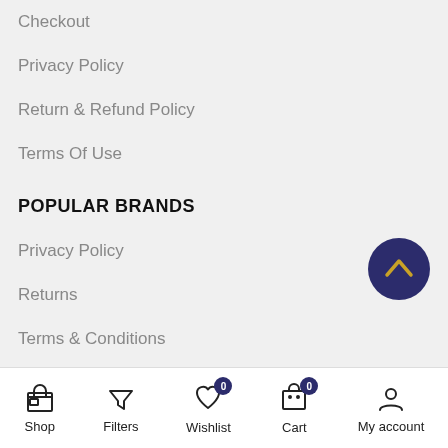Checkout
Privacy Policy
Return & Refund Policy
Terms Of Use
POPULAR BRANDS
Privacy Policy
Returns
Terms & Conditions
Contact Us
Latest News
Our Sitemap
Shop | Filters | Wishlist 0 | Cart 0 | My account